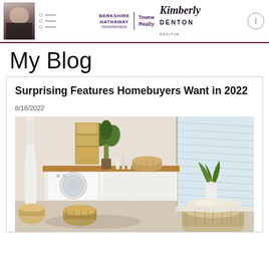Berkshire Hathaway HomeServices | Towne Realty | Kimberly Denton Realtor
My Blog
Surprising Features Homebuyers Want in 2022
8/18/2022
[Figure (photo): Modern laundry room with white front-loading washing machine under a wooden-topped counter, white bathrobe hanging on left, wicker baskets on floor, potted plant in background, window with horizontal blinds on right side.]